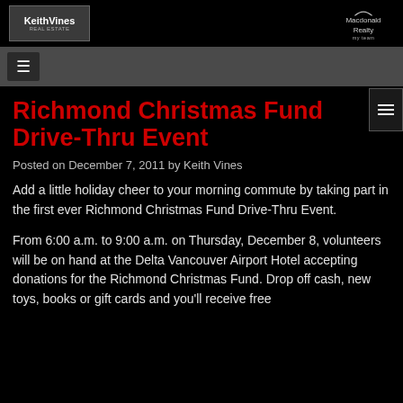[Figure (logo): Keith Vines real estate logo on dark background]
[Figure (logo): Macdonald Realty logo]
≡ (navigation menu bar)
Richmond Christmas Fund Drive-Thru Event
Posted on December 7, 2011 by Keith Vines
Add a little holiday cheer to your morning commute by taking part in the first ever Richmond Christmas Fund Drive-Thru Event.
From 6:00 a.m. to 9:00 a.m. on Thursday, December 8, volunteers will be on hand at the Delta Vancouver Airport Hotel accepting donations for the Richmond Christmas Fund. Drop off cash, new toys, books or gift cards and you'll receive free